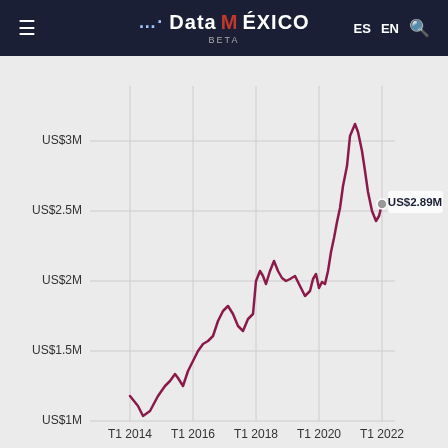DataMÉXICO BETA — ES EN
[Figure (continuous-plot): Line chart showing trade values in USD millions from T1 2014 to T1 2022. The line starts around US$0.7M in T1 2014, rises to about US$1M by end of 2014, continues rising with fluctuations to around US$1.5M by T1 2016, dips then rises to about US$2M by T1 2018, peaks near US$2.5M in early 2020, dips and rises again, then sharply rises to a peak above US$3M around T1 2022 before ending at US$2.89M.]